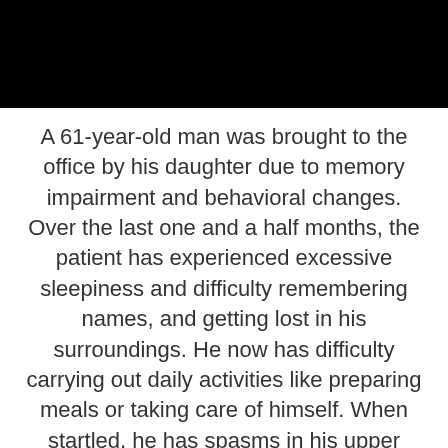[Figure (photo): Dark/black image at top of page, appears to be a photo with a dark background, partially visible]
A 61-year-old man was brought to the office by his daughter due to memory impairment and behavioral changes. Over the last one and a half months, the patient has experienced excessive sleepiness and difficulty remembering names, and getting lost in his surroundings. He now has difficulty carrying out daily activities like preparing meals or taking care of himself. When startled, he has spasms in his upper arms. Medical history is significant for diabetes mellitus, for which he takes